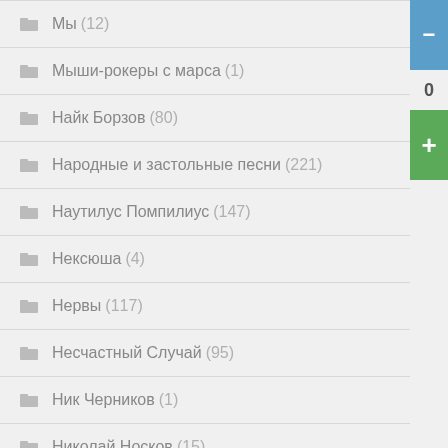Мы (12)
Мыши-рокеры с марса (1)
Найк Борзов (80)
Народные и застольные песни (221)
Наутилус Помпилиус (147)
Нексюша (4)
Нервы (117)
Несчастный Случай (95)
Ник Черников (1)
Николай Носков (15)